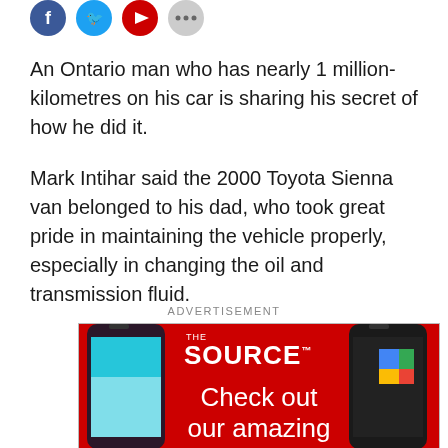[Figure (other): Social media share icons: Facebook (blue circle), Twitter (light blue circle), YouTube (red circle), more/ellipsis (gray circle)]
An Ontario man who has nearly 1 million-kilometres on his car is sharing his secret of how he did it.
Mark Intihar said the 2000 Toyota Sienna van belonged to his dad, who took great pride in maintaining the vehicle properly, especially in changing the oil and transmission fluid.
ADVERTISEMENT
[Figure (other): Advertisement for The Source showing two smartphones on a red background with text 'THE SOURCE Check out our amazing']